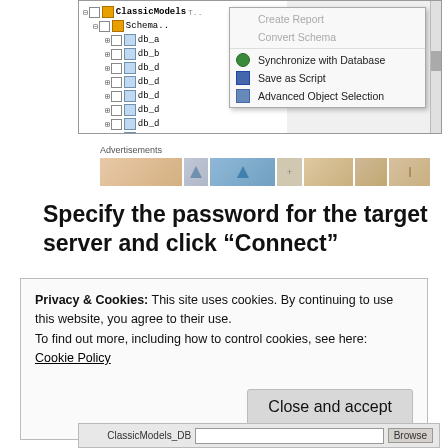[Figure (screenshot): Database schema tree with right-click context menu showing: Create Report (grayed), Convert Schema (grayed), Synchronize with Database, Save as Script, Advanced Object Selection. Tree shows ClassicModels DB with schema items db_a through db_d etc.]
Advertisements
[Figure (photo): Advertisement banner strip with colorful graphics]
Specify the password for the target server and click “Connect”
Privacy & Cookies: This site uses cookies. By continuing to use this website, you agree to their use.
To find out more, including how to control cookies, see here:
Cookie Policy

Close and accept
[Figure (screenshot): Bottom portion of a database connection dialog showing a text field with ClassicModels_DB and a Browse button]